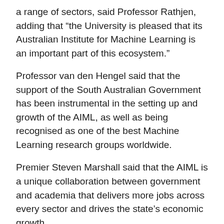a range of sectors, said Professor Rathjen, adding that “the University is pleased that its Australian Institute for Machine Learning is an important part of this ecosystem.”
Professor van den Hengel said that the support of the South Australian Government has been instrumental in the setting up and growth of the AIML, as well as being recognised as one of the best Machine Learning research groups worldwide.
Premier Steven Marshall said that the AIML is a unique collaboration between government and academia that delivers more jobs across every sector and drives the state’s economic growth.
“[It] will bolster South Australia’s entrepreneurial activity across a range of industries from defence to tourism, providing us with new tools and capabilities to ensure that this state remains at the forefront of global innovation and enterprise.”
“These cutting edge research projects will enable us to harness